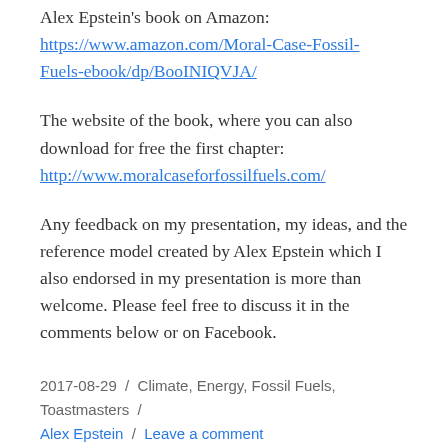Alex Epstein's book on Amazon:
https://www.amazon.com/Moral-Case-Fossil-Fuels-ebook/dp/BooINIQVJA/
The website of the book, where you can also download for free the first chapter:
http://www.moralcaseforfossilfuels.com/
Any feedback on my presentation, my ideas, and the reference model created by Alex Epstein which I also endorsed in my presentation is more than welcome. Please feel free to discuss it in the comments below or on Facebook.
2017-08-29 / Climate, Energy, Fossil Fuels, Toastmasters / Alex Epstein / Leave a comment